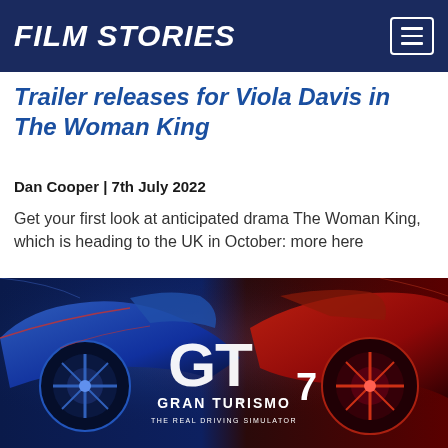FILM STORIES
Trailer releases for Viola Davis in The Woman King
Dan Cooper | 7th July 2022
Get your first look at anticipated drama The Woman King, which is heading to the UK in October: more here
[Figure (photo): Gran Turismo 7 promotional artwork showing two racing cars — a blue car on the left and a red car on the right — with the Gran Turismo GT logo and text 'GRAN TURISMO 7 THE REAL DRIVING SIMULATOR' in the center.]